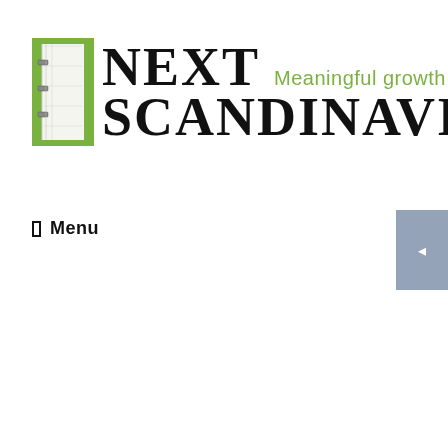[Figure (logo): Next Scandinavia logo with green book icon, bold serif text reading NEXT SCANDINAVIA, and green tagline Meaningful growth]
Menu